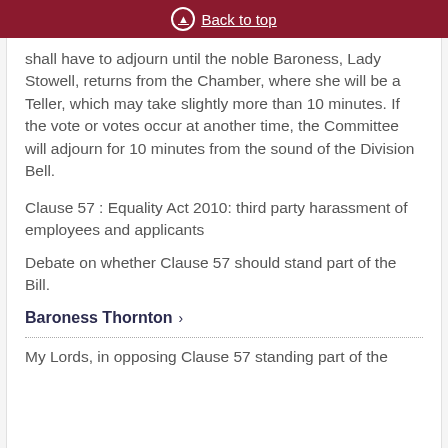Back to top
shall have to adjourn until the noble Baroness, Lady Stowell, returns from the Chamber, where she will be a Teller, which may take slightly more than 10 minutes. If the vote or votes occur at another time, the Committee will adjourn for 10 minutes from the sound of the Division Bell.
Clause 57 : Equality Act 2010: third party harassment of employees and applicants
Debate on whether Clause 57 should stand part of the Bill.
Baroness Thornton ›
My Lords, in opposing Clause 57 standing part of the